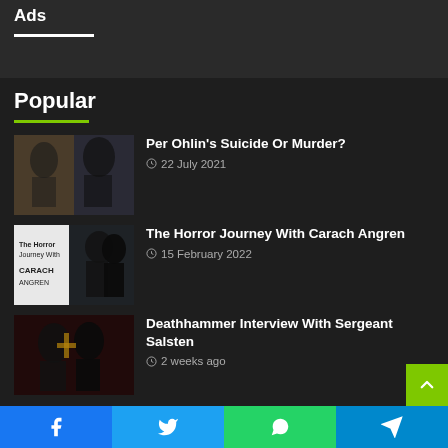Ads
Popular
Per Ohlin's Suicide Or Murder? — 22 July 2021
The Horror Journey With Carach Angren — 15 February 2022
Deathhammer Interview With Sergeant Salsten — 2 weeks ago
Facebook | Twitter | WhatsApp | Telegram